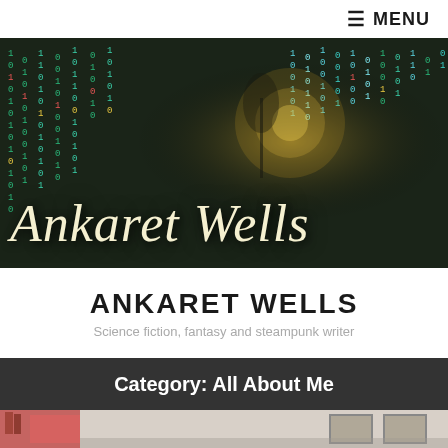≡ MENU
[Figure (illustration): Dark sci-fi/fantasy banner with cascading binary code (matrix-style) in teal, gold, and red over a dark background, with a glowing orb and tree silhouette on the right side. Overlaid with cursive text 'Ankaret Wells'.]
ANKARET WELLS
Science fiction, fantasy and steampunk writer
Category: All About Me
[Figure (photo): Partial view of a room interior with framed pictures on a wall, a red surface visible at bottom left.]